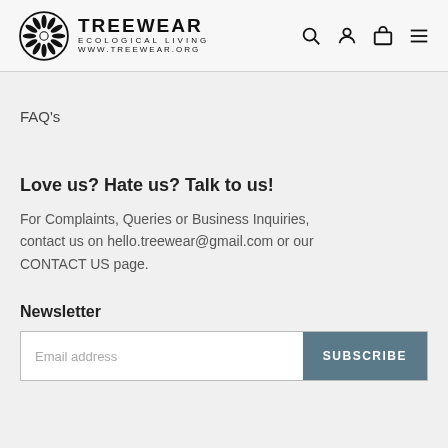TREEWEAR ECOLOGICAL LIVING WWW.TREEWEAR.ORG
FAQ's
Love us? Hate us? Talk to us!
For Complaints, Queries or Business Inquiries, contact us on hello.treewear@gmail.com or our CONTACT US page.
Newsletter
Email address | SUBSCRIBE